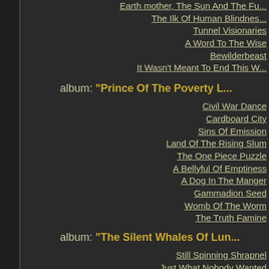Earth mother, The Sun And The Fu...
The Ilk Of Human Blindnes...
Tunnel Visionaries
A Word To The Wise
Bewilderbeast
It Wasn't Meant To End This W...
album: "Prince Of The Poverty L..."
Civil War Dance
Cardboard City
Sins Of Emission
Land Of The Rising Slum
The One Piece Puzzle
A Bellyful Of Emptiness
A Dog In The Manger
Gammadion Seed
Womb Of The Worm
The Truth Famine
album: "The Silent Whales Of Lun..."
Still Spinning Shrapnel
Just What Nobody Wanted
Art Nazi
Jeopardy
Brimstone Ballet
A Stranger In The Garden
Another Fine Mess